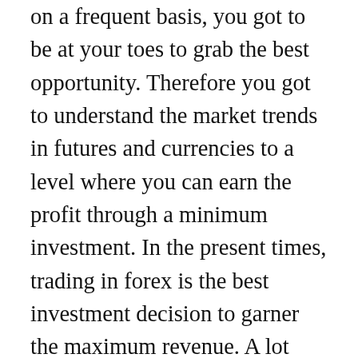on a frequent basis, you got to be at your toes to grab the best opportunity. Therefore you got to understand the market trends in futures and currencies to a level where you can earn the profit through a minimum investment. In the present times, trading in forex is the best investment decision to garner the maximum revenue. A lot many business entrepreneurs in the whole of Italy are going for trading in forex to get the best possible returns in the shortest period of time. So the mercato forex has also grown in size due to heavy investment and trading in currencies which have been the most preferred area to put in capital. Many new entrepreneurs too are showing great interest for trading in currencies, commodities, stocks, futures as they have come to discover the huge